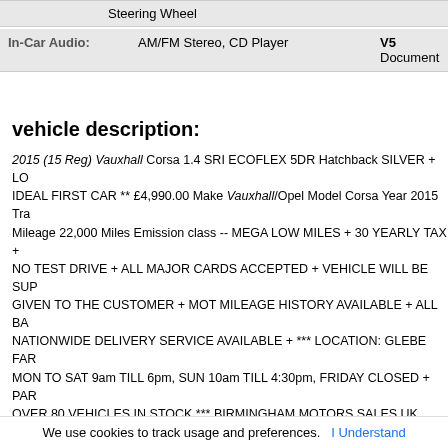| In-Car Audio: | AM/FM Stereo, CD Player | V5 Document |
vehicle description:
2015 (15 Reg) Vauxhall Corsa 1.4 SRI ECOFLEX 5DR Hatchback SILVER + LO IDEAL FIRST CAR ** £4,990.00 Make Vauxhall/Opel Model Corsa Year 2015 Tra Mileage 22,000 Miles Emission class -- MEGA LOW MILES + 30 YEARLY TAX + NO TEST DRIVE + ALL MAJOR CARDS ACCEPTED + VEHICLE WILL BE SUP GIVEN TO THE CUSTOMER + MOT MILEAGE HISTORY AVAILABLE + ALL BA NATIONWIDE DELIVERY SERVICE AVAILABLE + *** LOCATION: GLEBE FAR MON TO SAT 9am TILL 6pm, SUN 10am TILL 4:30pm, FRIDAY CLOSED + PAR OVER 80 VEHICLES IN STOCK *** BIRMINGHAM MOTORS SALES UK LIMITE 01675624351 Email Email Visit our Website Glebe Farm Road Birmingham Wes Tuesday 09:00 AM to 06:00 PM Wednesday 09:00 AM to 06:00 PM Thursday 09 06:00 PM Sunday 10:00 AM to 04:30 PM *** PLEASE CALL BEFORE MAKING Y Vehicle history Not stolen Not scrapped Not exported Not Cat A/B Not Cat C/D C the vehicle's value. Can re-appear on road. Category D The vehicle is repairable but repair costs are significant compared to Can re-appear on road. Not Cat S/N Not imported Original number plate Original colour Visit our Showro
We use cookies to track usage and preferences.   I Understand